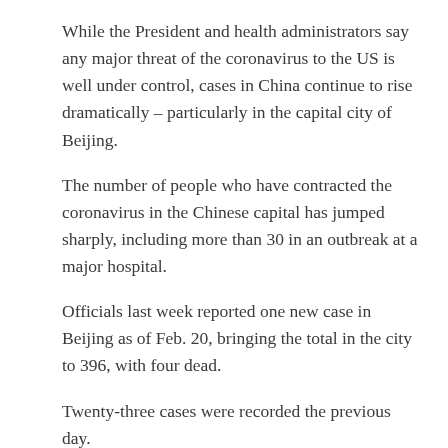While the President and health administrators say any major threat of the coronavirus to the US is well under control, cases in China continue to rise dramatically – particularly in the capital city of Beijing.
The number of people who have contracted the coronavirus in the Chinese capital has jumped sharply, including more than 30 in an outbreak at a major hospital.
Officials last week reported one new case in Beijing as of Feb. 20, bringing the total in the city to 396, with four dead.
Twenty-three cases were recorded the previous day.
The new cases largely stemmed from a major hospital about 4 miles west of Tiananmen Square, and come as China's leaders decide whether to postpone their annual